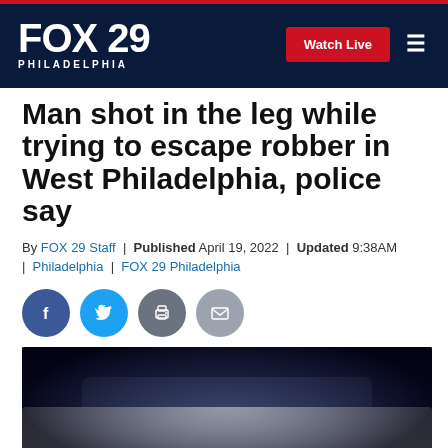FOX 29 PHILADELPHIA | Watch Live
Man shot in the leg while trying to escape robber in West Philadelphia, police say
By FOX 29 Staff | Published April 19, 2022 | Updated 9:38AM | Philadelphia | FOX 29 Philadelphia
[Figure (other): Social media share icons: Facebook, Twitter, Print, Email]
[Figure (photo): Police car at night with POLICE text visible on the side, dark background]